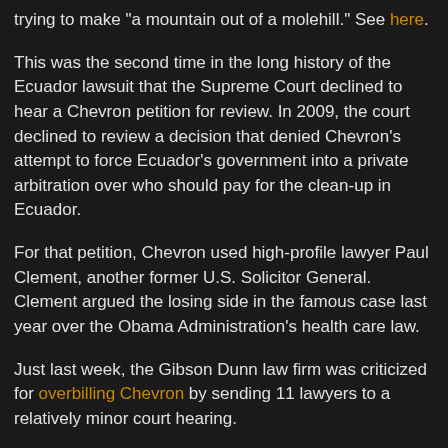trying to make "a mountain out of a molehill." See here.
This was the second time in the long history of the Ecuador lawsuit that the Supreme Court declined to hear a Chevron petition for review. In 2009, the court declined to review a decision that denied Chevron's attempt to force Ecuador's government into a private arbitration over who should pay for the clean-up in Ecuador.
For that petition, Chevron used high-profile lawyer Paul Clement, another former U.S. Solicitor General. Clement argued the losing side in the famous case last year over the Obama Administration's health care law.
Just last week, the Gibson Dunn law firm was criticized for overbilling Chevron by sending 11 lawyers to a relatively minor court hearing.
Posted: Tuesday, October 09, 2012    No comments:
Thursday, October 4, 2012